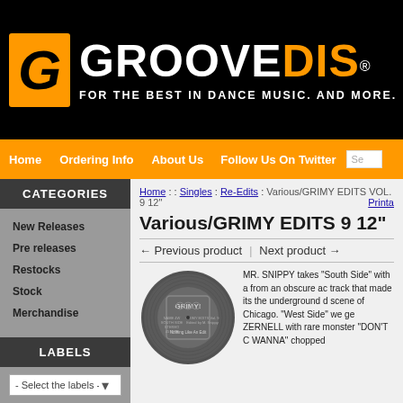[Figure (logo): GROOVEDiS logo with orange G icon and tagline FOR THE BEST IN DANCE MUSIC. AND MORE.]
Home  Ordering Info  About Us  Follow Us On Twitter  Se...
CATEGORIES
New Releases
Pre releases
Restocks
Stock
Merchandise
LABELS
- Select the labels -
Home : : Singles : Re-Edits : Various/GRIMY EDITS VOL. 9 12"
Various/GRIMY EDITS 9 12"
← Previous product  |  Next product →
[Figure (photo): Vinyl record with dark grey label showing GRIMY EDITS Vol. 9 text]
MR. SNIPPY takes "South Side" with a from an obscure ac track that made its the underground d scene of Chicago. "West Side" we ge ZERNELL with rare monster "DON'T C WANNA" chopped...